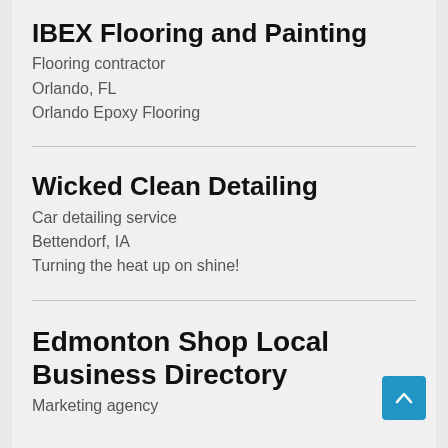IBEX Flooring and Painting
Flooring contractor
Orlando, FL
Orlando Epoxy Flooring
Wicked Clean Detailing
Car detailing service
Bettendorf, IA
Turning the heat up on shine!
Edmonton Shop Local Business Directory
Marketing agency